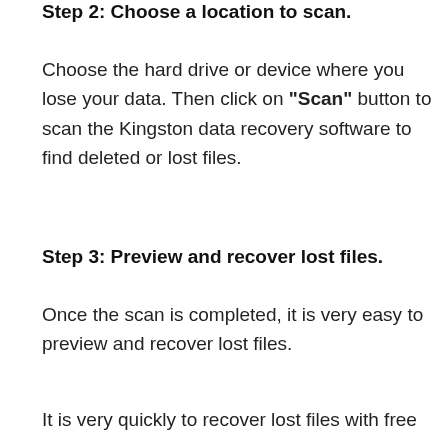Step 2: Choose a location to scan.
Choose the hard drive or device where you lose your data. Then click on “Scan” button to scan the Kingston data recovery software to find deleted or lost files.
Step 3: Preview and recover lost files.
Once the scan is completed, it is very easy to preview and recover lost files.
It is very quickly to recover lost files with free